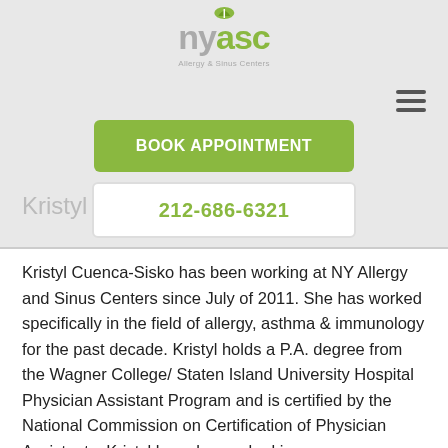[Figure (logo): nyasc Allergy & Sinus Centers logo with green leaf icon]
[Figure (screenshot): Book Appointment green button]
Kristyl Cuen
[Figure (screenshot): Phone number button showing 212-686-6321]
Kristyl Cuenca-Sisko has been working at NY Allergy and Sinus Centers since July of 2011. She has worked specifically in the field of allergy, asthma & immunology for the past decade. Kristyl holds a P.A. degree from the Wagner College/ Staten Island University Hospital Physician Assistant Program and is certified by the National Commission on Certification of Physician Assistants. Kristyl has also worked in pediatrics/adolescent health and internal medicine. She is an Allied Healthcare Member of the American